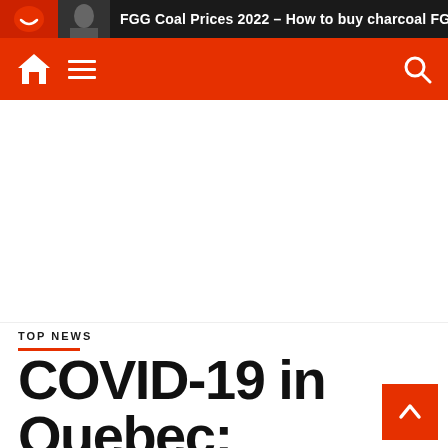FGG Coal Prices 2022 – How to buy charcoal FGG
[Figure (screenshot): Website navigation bar with home icon, hamburger menu, and search icon on orange background]
[Figure (other): White advertisement/content area]
TOP NEWS
COVID-19 in Quebec: Schoo...